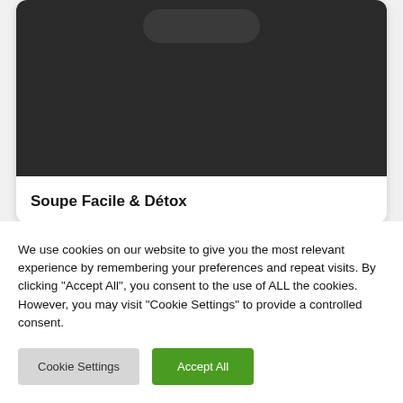[Figure (screenshot): Dark background mobile app card with a pill/rounded rectangle shape at top, partial view of a recipe card]
Soupe Facile & Détox
[Figure (screenshot): Partial dark rounded rectangle card visible at bottom of screen]
We use cookies on our website to give you the most relevant experience by remembering your preferences and repeat visits. By clicking "Accept All", you consent to the use of ALL the cookies. However, you may visit "Cookie Settings" to provide a controlled consent.
Cookie Settings
Accept All